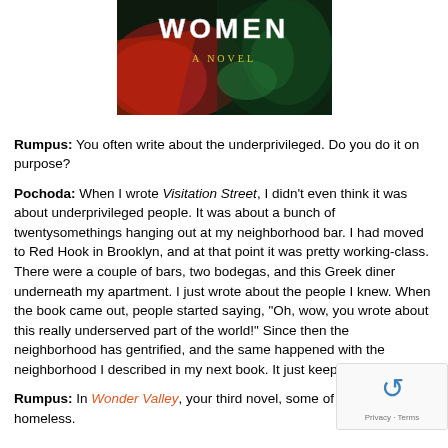[Figure (photo): Book cover showing 'WOMEN A NOVEL' text on a dark green and red abstract background]
Rumpus: You often write about the underprivileged. Do you do it on purpose?
Pochoda: When I wrote Visitation Street, I didn't even think it was about underprivileged people. It was about a bunch of twentysomethings hanging out at my neighborhood bar. I had moved to Red Hook in Brooklyn, and at that point it was pretty working-class. There were a couple of bars, two bodegas, and this Greek diner underneath my apartment. I just wrote about the people I knew. When the book came out, people started saying, "Oh, wow, you wrote about this really underserved part of the world!" Since then the neighborhood has gentrified, and the same happened with the neighborhood I described in my next book. It just keeps happ
Rumpus: In Wonder Valley, your third novel, some of the ch are homeless.